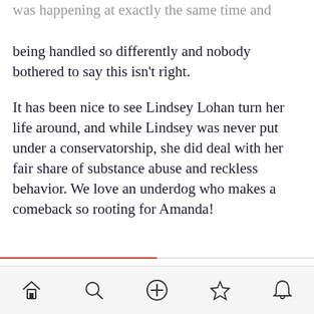was happening at exactly the same time and being handled so differently and nobody bothered to say this isn't right.
It has been nice to see Lindsey Lohan turn her life around, and while Lindsey was never put under a conservatorship, she did deal with her fair share of substance abuse and reckless behavior. We love an underdog who makes a comeback so rooting for Amanda!
Posted by  thetalkofshame  5 months ago  2